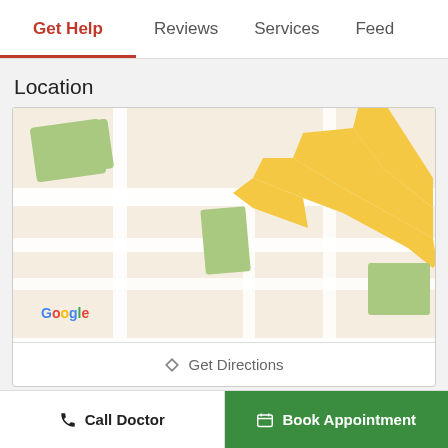Get Help | Reviews | Services | Feed
Location
[Figure (map): Google Map showing streets near Indira Nagar, Bangalore with yellow roads, white streets, and green building/park areas]
◆ Get Directions
Find General Physician nearby Indira Nagar, Bangalore
Call Doctor | Book Appointment